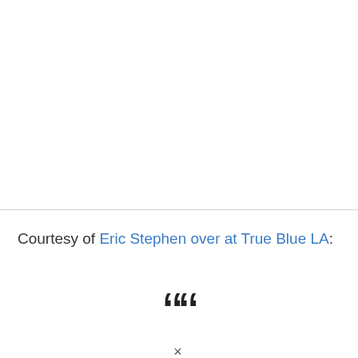Courtesy of Eric Stephen over at True Blue LA:
““
×